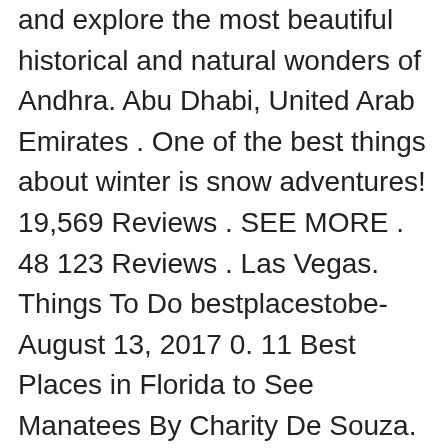Pleasful. 3,356 reviews . Head out to these serene places and explore the most beautiful historical and natural wonders of Andhra. Abu Dhabi, United Arab Emirates . One of the best things about winter is snow adventures! 19,569 Reviews . SEE MORE . 48 123 Reviews . Las Vegas. Things To Do bestplacestobe-August 13, 2017 0. 11 Best Places in Florida to See Manatees By Charity De Souza. Angkor Wat. Here in Seattle, we are lucky to have snow easily accessible with so many opportunities for fun from sledding, tubing, cross-country skiing, downhill skiing, etc. Discover best tourist places to visit near Bangalore (Bengaluru) within 200 km - explore hill stations, waterfalls, historical sites, trekking & adventure spots. This article contains affiliate links, which means we may earn a small amount of money if a reader clicks through and makes a purchase. See all. Yelp. Things to do in top destinations. Siem Reap, Cambodia. The dark sky